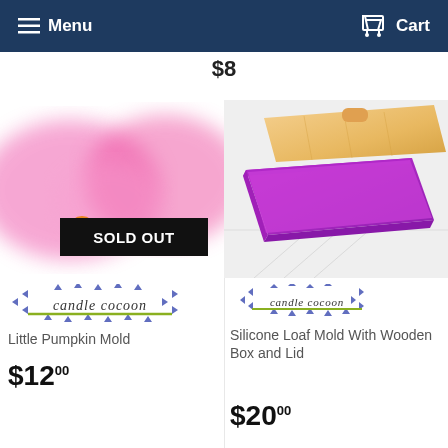Menu  Cart
$8
[Figure (photo): Pink silicone molds with a small pumpkin shape in front, SOLD OUT badge overlaid]
[Figure (logo): Candle Cocoon brand logo (left product)]
Little Pumpkin Mold
$12.00
[Figure (photo): Silicone loaf mold with wooden box and lid open showing purple interior]
[Figure (logo): Candle Cocoon brand logo (right product)]
Silicone Loaf Mold With Wooden Box and Lid
$20.00